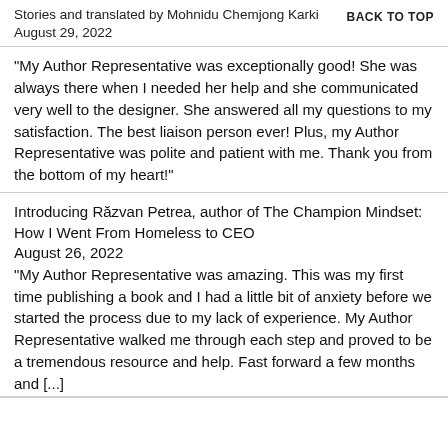Stories and translated by Mohnidu Chemjong Karki
August 29, 2022
BACK TO TOP
"My Author Representative was exceptionally good! She was always there when I needed her help and she communicated very well to the designer. She answered all my questions to my satisfaction. The best liaison person ever! Plus, my Author Representative was polite and patient with me. Thank you from the bottom of my heart!"
Introducing Răzvan Petrea, author of The Champion Mindset: How I Went From Homeless to CEO
August 26, 2022
"My Author Representative was amazing. This was my first time publishing a book and I had a little bit of anxiety before we started the process due to my lack of experience. My Author Representative walked me through each step and proved to be a tremendous resource and help. Fast forward a few months and [...]